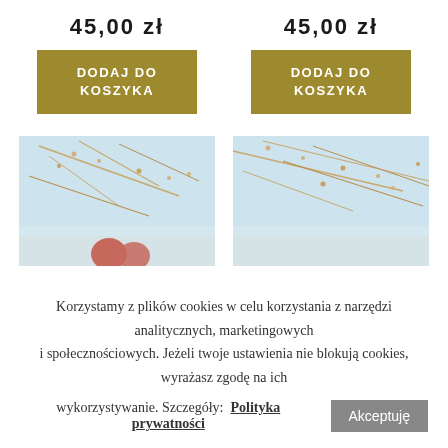45,00 zł
45,00 zł
DODAJ DO KOSZYKA
DODAJ DO KOSZYKA
[Figure (photo): Product photo showing floral/branch with flowers and red decorative element, light blue background]
[Figure (photo): Product photo showing floral/branch with flowers, light blue background, cropped]
Korzystamy z plików cookies w celu korzystania z narzędzi analitycznych, marketingowych i społecznościowych. Jeżeli twoje ustawienia nie blokują cookies, wyrażasz zgodę na ich wykorzystywanie. Szczegóły:
Polityka prywatności
Akceptuję